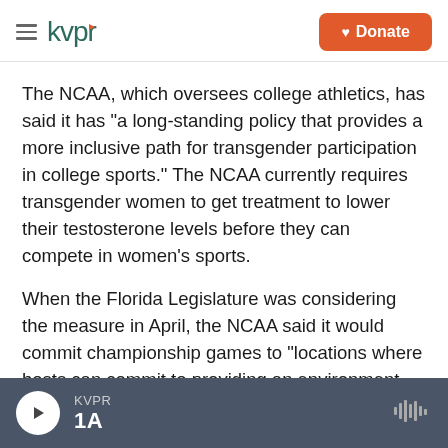kvpr | Donate
The NCAA, which oversees college athletics, has said it has "a long-standing policy that provides a more inclusive path for transgender participation in college sports." The NCAA currently requires transgender women to get treatment to lower their testosterone levels before they can compete in women's sports.
When the Florida Legislature was considering the measure in April, the NCAA said it would commit championship games to "locations where hosts can commit to providing an environment that is safe, healthy and free of discrimination."
KVPR | 1A